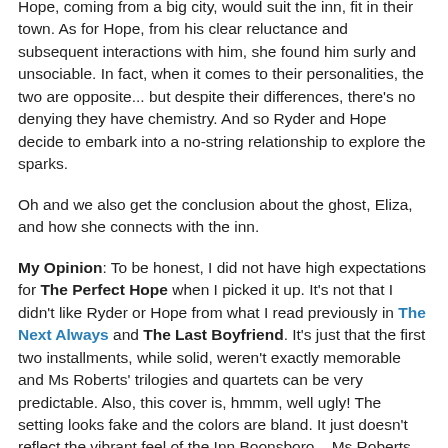Hope, coming from a big city, would suit the inn, fit in their town. As for Hope, from his clear reluctance and subsequent interactions with him, she found him surly and unsociable. In fact, when it comes to their personalities, the two are opposite... but despite their differences, there's no denying they have chemistry. And so Ryder and Hope decide to embark into a no-string relationship to explore the sparks.
Oh and we also get the conclusion about the ghost, Eliza, and how she connects with the inn.
My Opinion: To be honest, I did not have high expectations for The Perfect Hope when I picked it up. It's not that I didn't like Ryder or Hope from what I read previously in The Next Always and The Last Boyfriend. It's just that the first two installments, while solid, weren't exactly memorable and Ms Roberts' trilogies and quartets can be very predictable. Also, this cover is, hmmm, well ugly! The setting looks fake and the colors are bland. It just doesn't reflect the vibrant feel of the Inn Boonsboro... Ms Roberts usually gets such great covers, but The Perfect Hope's was a total miss and I was afraid it was an indication of the story itself... However, I was totally surprised! The Perfect Hope turned out to be the...